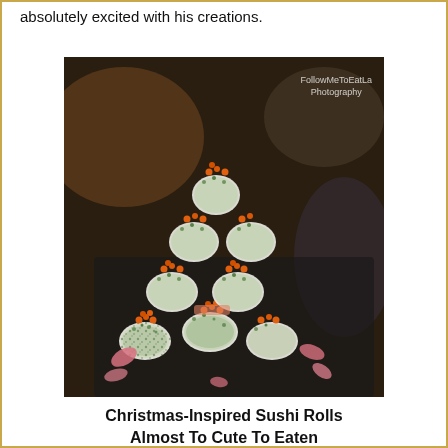absolutely excited with his creations.
[Figure (photo): A Christmas tree-shaped stack of sushi rolls coated in green herbs, topped with orange fish roe (salmon eggs), arranged on a dark plate with pink ginger pieces scattered around. Watermark reads: FollowMeToEatLa Photography]
Christmas-Inspired Sushi Rolls Almost To Cute To Eaten